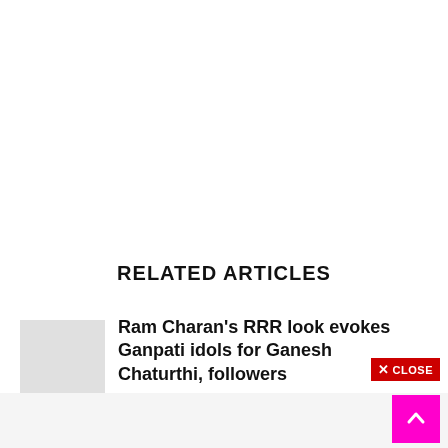RELATED ARTICLES
Ram Charan's RRR look evokes Ganpati idols for Ganesh Chaturthi, followers